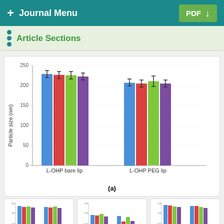+ Journal Menu | PDF
Article Sections
[Figure (grouped-bar-chart): ]
(a)
[Figure (grouped-bar-chart): Small bar chart thumbnail 1]
[Figure (grouped-bar-chart): Small bar chart thumbnail 2]
[Figure (grouped-bar-chart): Small bar chart thumbnail 3]